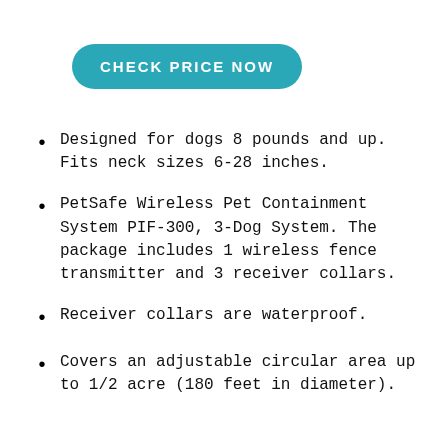[Figure (other): Teal rounded rectangle button with white bold uppercase text reading CHECK PRICE NOW]
Designed for dogs 8 pounds and up. Fits neck sizes 6-28 inches.
PetSafe Wireless Pet Containment System PIF-300, 3-Dog System. The package includes 1 wireless fence transmitter and 3 receiver collars.
Receiver collars are waterproof.
Covers an adjustable circular area up to 1/2 acre (180 feet in diameter).